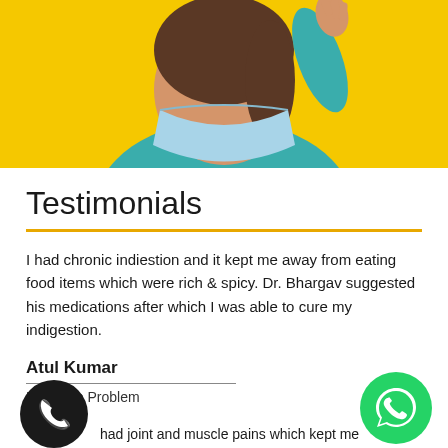[Figure (photo): Photo of a nurse or healthcare worker wearing a teal/green scrub top and a light blue surgical face mask, raising one hand, set against a yellow background. Only the torso and neck/lower face area are visible.]
Testimonials
I had chronic indiestion and it kept me away from eating food items which were rich & spicy. Dr. Bhargav suggested his medications after which I was able to cure my indigestion.
Atul Kumar
Digestive Problem
had joint and muscle pains which kept me